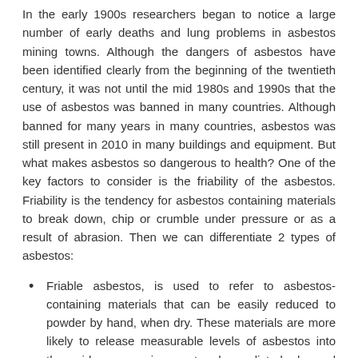In the early 1900s researchers began to notice a large number of early deaths and lung problems in asbestos mining towns. Although the dangers of asbestos have been identified clearly from the beginning of the twentieth century, it was not until the mid 1980s and 1990s that the use of asbestos was banned in many countries. Although banned for many years in many countries, asbestos was still present in 2010 in many buildings and equipment. But what makes asbestos so dangerous to health? One of the key factors to consider is the friability of the asbestos. Friability is the tendency for asbestos containing materials to break down, chip or crumble under pressure or as a result of abrasion. Then we can differentiate 2 types of asbestos:
Friable asbestos, is used to refer to asbestos-containing materials that can be easily reduced to powder by hand, when dry. These materials are more likely to release measurable levels of asbestos into the airborne environment when disturbed, and generally pose a greater risk to health. Examples of friable asbestos-containing materials include: thermal insulation, insulation boards, pipe lagging and sprayed coatings.